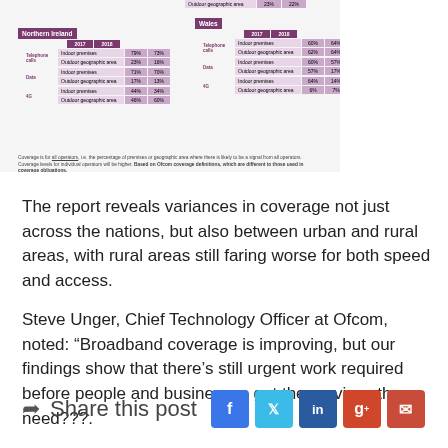[Figure (infographic): Map of UK showing Northern Ireland and Wales coverage tables with purple color scheme, showing indoor premises and outdoor geographic area coverage percentages for 2017 and 2018]
Coverage is for all operators, i.e. the percentage of premises or geographic area where there is likely to be a signal from all operators. Coverage levels for individual operators will be higher. Based on Ofcom coverage definitions, which are different to those used in coverage obligations.
The report reveals variances in coverage not just across the nations, but also between urban and rural areas, with rural areas still faring worse for both speed and access.
Steve Unger, Chief Technology Officer at Ofcom, noted: “Broadband coverage is improving, but our findings show that there’s still urgent work required before people and businesses get the services they need???.”
Share this post